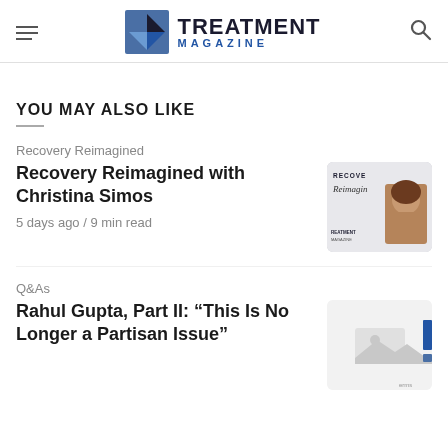TREATMENT MAGAZINE
YOU MAY ALSO LIKE
Recovery Reimagined
Recovery Reimagined with Christina Simos
5 days ago / 9 min read
[Figure (photo): Cover image for Recovery Reimagined with Christina Simos article, showing a woman with curly hair smiling, with treatment magazine branding overlay]
Q&As
Rahul Gupta, Part II: “This Is No Longer a Partisan Issue”
[Figure (photo): Thumbnail image for Rahul Gupta article, partially visible with a landscape icon placeholder]